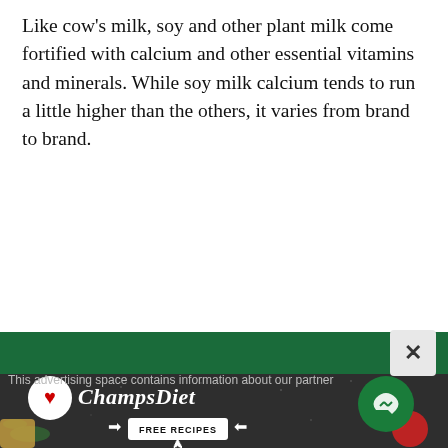Like cow's milk, soy and other plant milk come fortified with calcium and other essential vitamins and minerals. While soy milk calcium tends to run a little higher than the others, it varies from brand to brand.
[Figure (illustration): Advertisement banner for ChampsDiet with dark background, food items, logo circle with American flag heart design, ChampsDiet cursive text, FREE RECIPES button with arrows, cursor icon, and green messenger circle icon]